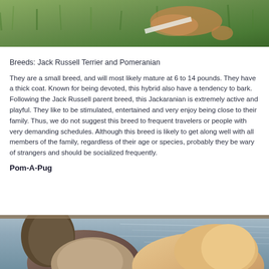[Figure (photo): A dog lying on green grass, partially visible at top of page]
Breeds: Jack Russell Terrier and Pomeranian
They are a small breed, and will most likely mature at 6 to 14 pounds. They have a thick coat. Known for being devoted, this hybrid also have a tendency to bark. Following the Jack Russell parent breed, this Jackaranian is extremely active and playful. They like to be stimulated, entertained and very enjoy being close to their family. Thus, we do not suggest this breed to frequent travelers or people with very demanding schedules. Although this breed is likely to get along well with all members of the family, regardless of their age or species, probably they be wary of strangers and should be socialized frequently.
Pom-A-Pug
[Figure (photo): Two dogs near water, one with dark ears and light fur, another with golden fur, partially visible at bottom of page]